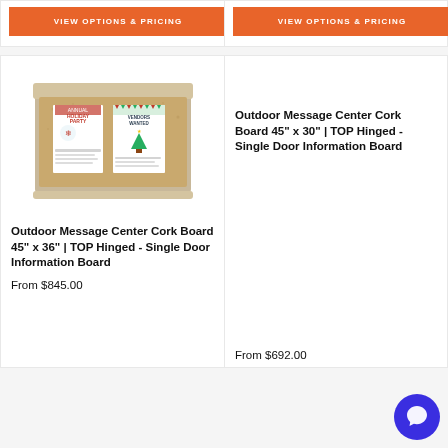[Figure (screenshot): Orange 'VIEW OPTIONS & PRICING' button on left product card (top)]
[Figure (screenshot): Orange 'VIEW OPTIONS & PRICING' button on right product card (top)]
[Figure (photo): Outdoor Message Center Cork Board with two flyers pinned inside, wooden frame, top-hinged single door]
Outdoor Message Center Cork Board 45" x 36" | TOP Hinged - Single Door Information Board
Outdoor Message Center Cork Board 45" x 30" | TOP Hinged - Single Door Information Board
From $845.00
From $692.00